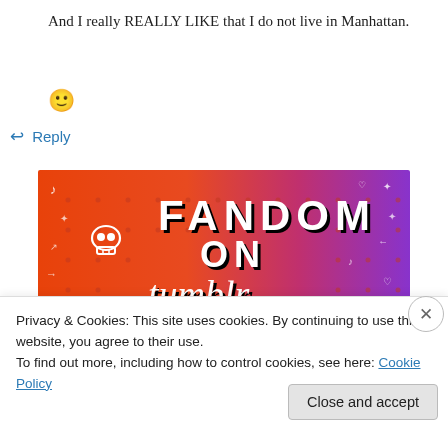And I really REALLY LIKE that I do not live in Manhattan.
🙂
↩ Reply
[Figure (illustration): Colorful gradient image (orange to purple) with white illustrated doodles and text reading 'FANDOM ON tumblr' with black shadow lettering and decorative icons like a skull, music notes, stars, hearts, and arrows.]
Privacy & Cookies: This site uses cookies. By continuing to use this website, you agree to their use.
To find out more, including how to control cookies, see here: Cookie Policy
Close and accept